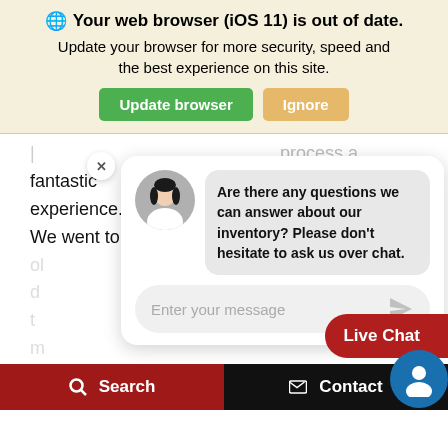[Figure (screenshot): Browser update notification banner with globe icon, bold title 'Your web browser (iOS 11) is out of date.', subtitle 'Update your browser for more security, speed and the best experience on this site.', green 'Update browser' button and orange 'Ignore' button on light yellow background.]
fantastic experience. We went to
process a fantastic experience. We went to
[Figure (screenshot): Live chat widget overlay with female avatar, message bubble reading 'Are there any questions we can answer about our inventory? Please don't hesitate to ask us over chat.', text input field 'Enter your message', close button, and red 'Live Chat' button.]
this one due to their quality
this one due to their quality
Search   Contact